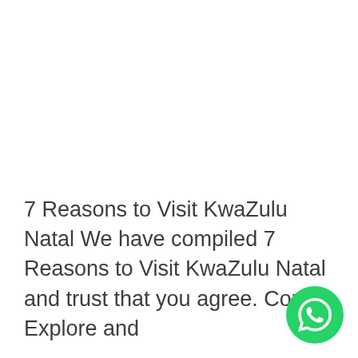7 Reasons to Visit KwaZulu Natal We have compiled 7 Reasons to Visit KwaZulu Natal and trust that you agree. Come Explore and
[Figure (illustration): WhatsApp floating action button — green circle with white phone handset icon, positioned at bottom right]